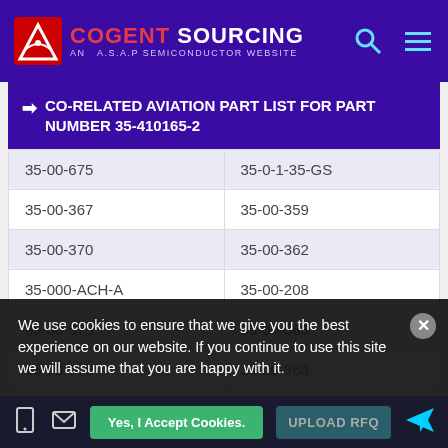COGENT SOURCING - AN A.S.A.P SEMICONDUCTOR WEBSITE
CO-RELATED AVIATION PART LIST FOR PART NUMBER 35-410165-2
| Part Number | Part Number |
| --- | --- |
| 35-00-675 | 35-0-1-35-GS |
| 35-00-367 | 35-00-359 |
| 35-00-370 | 35-00-362 |
| 35-000-ACH-A | 35-00-208 |
| 35-00-575 | 35-00-363 |
| 35-00-675 | 35-00-368 |
We use cookies to ensure that we give you the best experience on our website. If you continue to use this site we will assume that you are happy with it.
Yes, I Accept Cookies. | UPLOAD RFQ